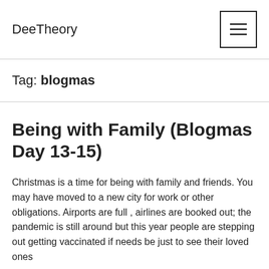DeeTheory
Tag: blogmas
Being with Family (Blogmas Day 13-15)
Christmas is a time for being with family and friends. You may have moved to a new city for work or other obligations. Airports are full , airlines are booked out; the pandemic is still around but this year people are stepping out getting vaccinated if needs be just to see their loved ones